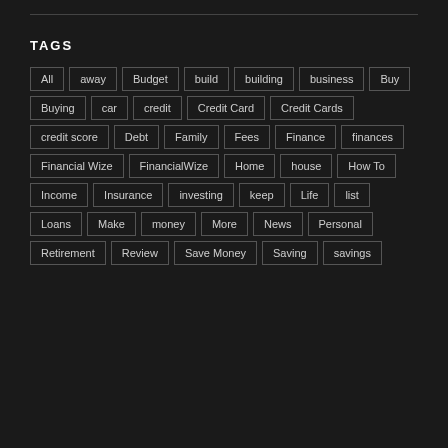TAGS
All
away
Budget
build
building
business
Buy
Buying
car
credit
Credit Card
Credit Cards
credit score
Debt
Family
Fees
Finance
finances
Financial Wize
FinancialWize
Home
house
How To
Income
Insurance
investing
keep
Life
list
Loans
Make
money
More
News
Personal
Retirement
Review
Save Money
Saving
savings